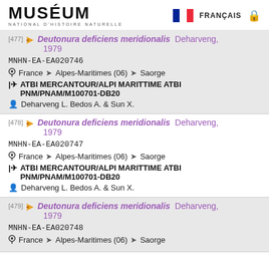MUSÉUM NATIONAL D'HISTOIRE NATURELLE | FRANÇAIS
[477] Deutonura deficiens meridionalis Deharveng, 1979 | MNHN-EA-EA020746 | France > Alpes-Maritimes (06) > Saorge | ATBI MERCANTOUR/ALPI MARITTIME ATBI PNM/PNAM/M100701-DB20 | Deharveng L. Bedos A. & Sun X.
[478] Deutonura deficiens meridionalis Deharveng, 1979 | MNHN-EA-EA020747 | France > Alpes-Maritimes (06) > Saorge | ATBI MERCANTOUR/ALPI MARITTIME ATBI PNM/PNAM/M100701-DB20 | Deharveng L. Bedos A. & Sun X.
[479] Deutonura deficiens meridionalis Deharveng, 1979 | MNHN-EA-EA020748 | France > Alpes-Maritimes (06) > Saorge